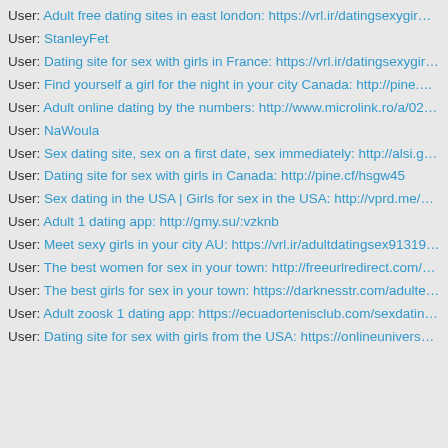User: Adult free dating sites in east london: https://vrl.ir/datingsexygir…
User: StanleyFet
User: Dating site for sex with girls in France: https://vrl.ir/datingsexygir…
User: Find yourself a girl for the night in your city Canada: http://pine.…
User: Adult online dating by the numbers: http://www.microlink.ro/a/02…
User: NaWoula
User: Sex dating site, sex on a first date, sex immediately: http://alsi.g…
User: Dating site for sex with girls in Canada: http://pine.cf/hsgw45
User: Sex dating in the USA | Girls for sex in the USA: http://vprd.me/…
User: Adult 1 dating app: http://gmy.su/:vzknb
User: Meet sexy girls in your city AU: https://vrl.ir/adultdatingsex91319…
User: The best women for sex in your town: http://freeurlredirect.com/…
User: The best girls for sex in your town: https://darknesstr.com/adulte…
User: Adult zoosk 1 dating app: https://ecuadortenisclub.com/sexdatin…
User: Dating site for sex with girls from the USA: https://onlineunivers…